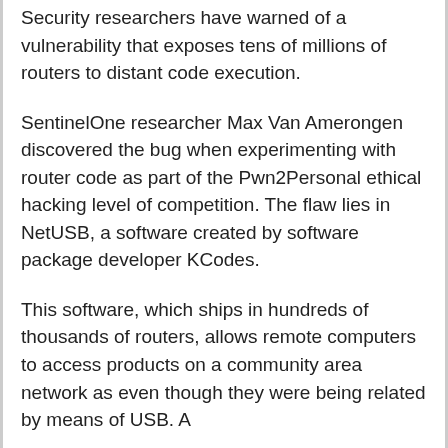Security researchers have warned of a vulnerability that exposes tens of millions of routers to distant code execution.
SentinelOne researcher Max Van Amerongen discovered the bug when experimenting with router code as part of the Pwn2Personal ethical hacking level of competition. The flaw lies in NetUSB, a software created by software package developer KCodes.
This software, which ships in hundreds of thousands of routers, allows remote computers to access products on a community area network as even though they were being related by means of USB. A